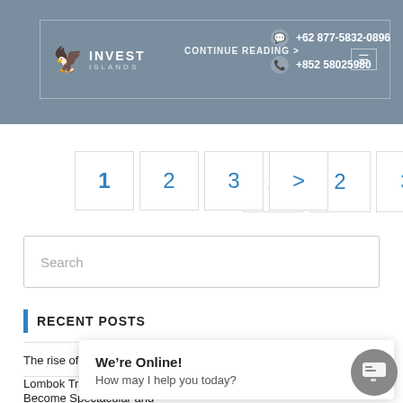INVEST ISLANDS | CONTINUE READING > | +62 877-5832-0896 | +852 58025980
1
2
3
>
Search
RECENT POSTS
The rise of Lombok’s first Gran Meliá resort
Lombok Transformed: Invest Islands Sculpts Secluded Torok Bay To Become Spectacular and
What are eco-villages, a... g e... bills and the climate emergency are changing our living habits and